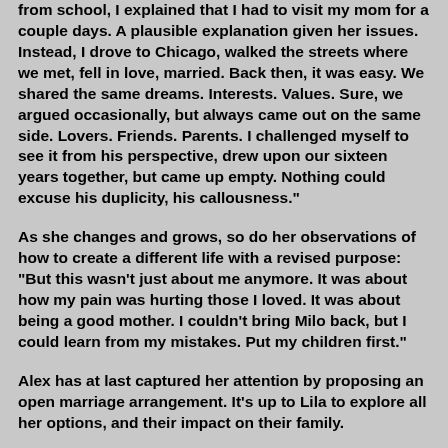from school, I explained that I had to visit my mom for a couple days. A plausible explanation given her issues. Instead, I drove to Chicago, walked the streets where we met, fell in love, married. Back then, it was easy. We shared the same dreams. Interests. Values. Sure, we argued occasionally, but always came out on the same side. Lovers. Friends. Parents. I challenged myself to see it from his perspective, drew upon our sixteen years together, but came up empty. Nothing could excuse his duplicity, his callousness."
As she changes and grows, so do her observations of how to create a different life with a revised purpose: "But this wasn't just about me anymore. It was about how my pain was hurting those I loved. It was about being a good mother. I couldn't bring Milo back, but I could learn from my mistakes. Put my children first."
Alex has at last captured her attention by proposing an open marriage arrangement. It's up to Lila to explore all her options, and their impact on their family.
Dondlinger creates a heartfelt novel that traverses Lila's healing process. Her choice of the first person brings home Lila's thoughts, emotions, and the logic behind her responses, crafting an exploration of re-inventing a marriage on a different level while healing from a host of past psychological